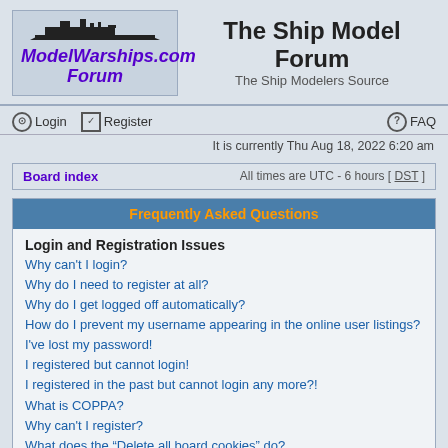[Figure (logo): ModelWarships.com Forum logo with silhouette of warships and italic bold purple text]
The Ship Model Forum
The Ship Modelers Source
Login   Register   FAQ
It is currently Thu Aug 18, 2022 6:20 am
Board index   All times are UTC - 6 hours [ DST ]
Frequently Asked Questions
Login and Registration Issues
Why can't I login?
Why do I need to register at all?
Why do I get logged off automatically?
How do I prevent my username appearing in the online user listings?
I've lost my password!
I registered but cannot login!
I registered in the past but cannot login any more?!
What is COPPA?
Why can't I register?
What does the "Delete all board cookies" do?
User Preferences and settings
How do I change my settings?
How do I prevent my username appearing in the…